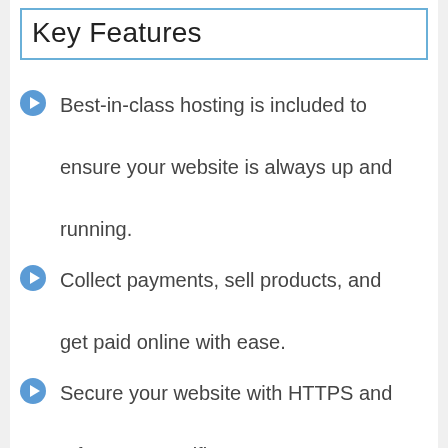Key Features
Best-in-class hosting is included to ensure your website is always up and running.
Collect payments, sell products, and get paid online with ease.
Secure your website with HTTPS and a free SSL certificate.
Get live chat support to help you with